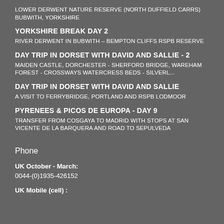LOWER DERWENT NATURE RESERVE (NORTH DUFFIELD CARRS) BUBWITH, YORKSHIRE
YORKSHIRE BREAK DAY 2
RIVER DERWENT IN BUBWITH – BEMPTON CLIFFS RSPB RESERVE
DAY TRIP IN DORSET WITH DAVID AND SALLIE - 2
MAIDEN CASTLE, DORCHESTER - SHERFORD BRIDGE, WAREHAM FOREST - CROSSWAYS WATERCRESS BEDS - SILVERL...
DAY TRIP IN DORSET WITH DAVID AND SALLIE
A VISIT TO FERRYBRIDGE, PORTLAND AND RSPB LODMOOR
PYRENEES & PICOS DE EUROPA - DAY 9
TRANSFER FROM COSGAYA TO MADRID WITH STOPS AT SAN VICENTE DE LA BARQUERA AND ROAD TO SEPULVEDA
Phone
UK October - March:
0044-(0)1935-426152
UK Mobile (cell) :